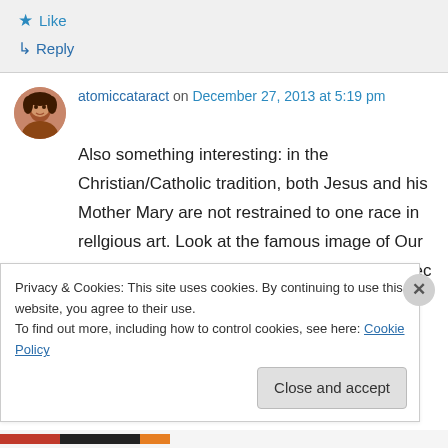★ Like
↳ Reply
atomiccataract on December 27, 2013 at 5:19 pm
Also something interesting: in the Christian/Catholic tradition, both Jesus and his Mother Mary are not restrained to one race in rellgious art. Look at the famous image of Our Lady of Guadalupe, who appeared as an Aztec
Privacy & Cookies: This site uses cookies. By continuing to use this website, you agree to their use.
To find out more, including how to control cookies, see here: Cookie Policy
Close and accept